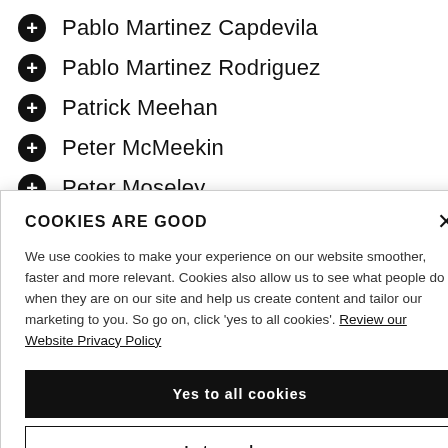Pablo Martinez Capdevila
Pablo Martinez Rodriguez
Patrick Meehan
Peter McMeekin
Peter Moseley
Dr. Rabeh Morrar
Rashid Maqbool
COOKIES ARE GOOD

We use cookies to make your experience on our website smoother, faster and more relevant. Cookies also allow us to see what people do when they are on our site and help us create content and tailor our marketing to you. So go on, click 'yes to all cookies'. Review our Website Privacy Policy

[Yes to all cookies]
[Let me choose]